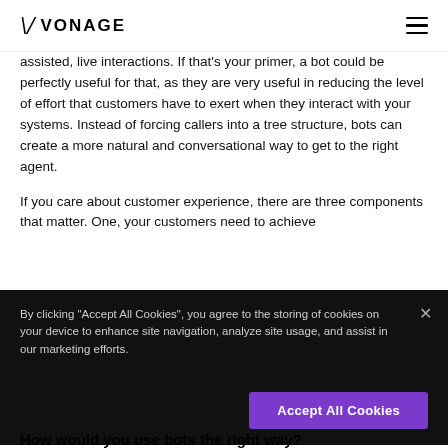VONAGE
assisted, live interactions. If that's your primer, a bot could be perfectly useful for that, as they are very useful in reducing the level of effort that customers have to exert when they interact with your systems. Instead of forcing callers into a tree structure, bots can create a more natural and conversational way to get to the right agent.
If you care about customer experience, there are three components that matter. One, your customers need to achieve
By clicking "Accept All Cookies", you agree to the storing of cookies on your device to enhance site navigation, analyze site usage, and assist in our marketing efforts.
How would you use bots the right way?